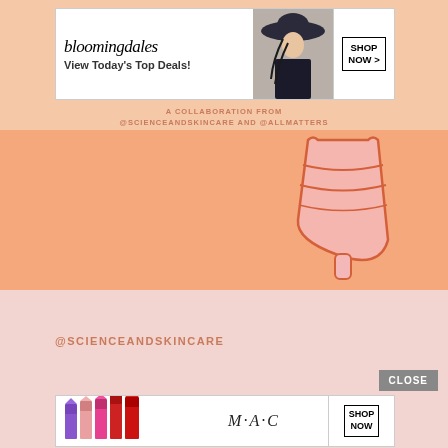[Figure (screenshot): Bloomingdale's advertisement banner with text 'bloomingdales View Today's Top Deals!' and a model in a hat and a 'SHOP NOW >' button]
A COLLABORATION FROM @SCIENCEANDSKINCARE AND @ALLMATTERS
[Figure (illustration): Menstrual cup illustration in pink/salmon on orange-peach background]
@SCIENCEANDSKINCARE
CLOSE
[Figure (screenshot): MAC Cosmetics advertisement banner with lipsticks and 'M·A·C' logo and 'SHOP NOW' button]